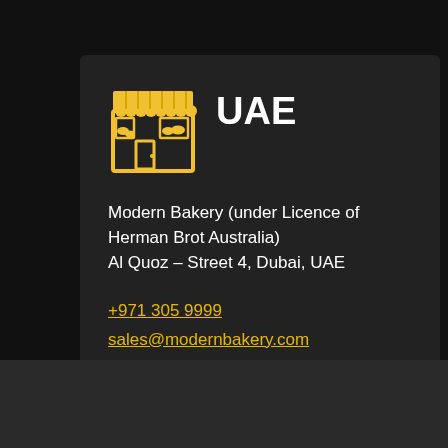[Figure (illustration): Yellow bakery/shop storefront icon with awning and bread visible in window]
UAE
Modern Bakery (under Licence of Herman Brot Australia)
Al Quoz – Street 4, Dubai, UAE
+971 305 9999
sales@modernbakery.com